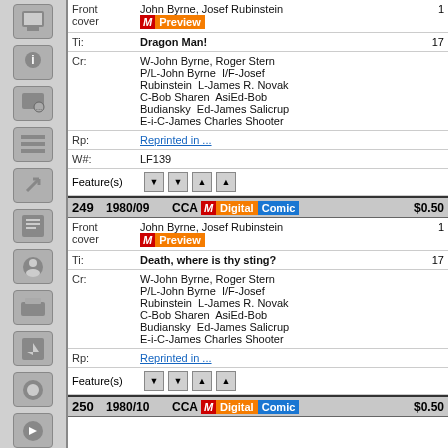| Label | Value | Num |
| --- | --- | --- |
| Front cover | John Byrne, Josef Rubinstein [M Preview] | 1 |
| Ti: | Dragon Man! | 17 |
| Cr: | W-John Byrne, Roger Stern P/L-John Byrne I/F-Josef Rubinstein L-James R. Novak C-Bob Sharen AsiEd-Bob Budiansky Ed-James Salicrup E-i-C-James Charles Shooter |  |
| Rp: | Reprinted in ... |  |
| W#: | LF139 |  |
| Feature(s) | ▼▼▲▲ |  |
| # | Date | Badge | Price |
| --- | --- | --- | --- |
| 249 | 1980/09 | CCA M Digital Comic | $0.50 |
| Label | Value | Num |
| --- | --- | --- |
| Front cover | John Byrne, Josef Rubinstein [M Preview] | 1 |
| Ti: | Death, where is thy sting? | 17 |
| Cr: | W-John Byrne, Roger Stern P/L-John Byrne I/F-Josef Rubinstein L-James R. Novak C-Bob Sharen AsiEd-Bob Budiansky Ed-James Salicrup E-i-C-James Charles Shooter |  |
| Rp: | Reprinted in ... |  |
| Feature(s) | ▼▼▲▲ |  |
| # | Date | Badge | Price |
| --- | --- | --- | --- |
| 250 | 1980/10 | CCA M Digital Comic | $0.50 |